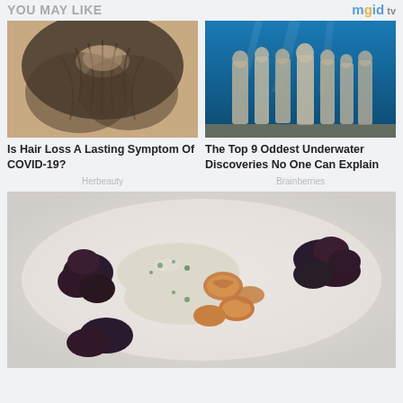YOU MAY LIKE
[Figure (photo): Close-up top view of a person's head showing hair thinning/loss pattern]
Is Hair Loss A Lasting Symptom Of COVID-19?
Herbeauty
[Figure (photo): Underwater photograph of stone/coral statues of human figures on ocean floor]
The Top 9 Oddest Underwater Discoveries No One Can Explain
Brainberries
[Figure (photo): Food photography showing a plated dish with white herb cheese or mousse, walnuts, and dark berry/olive accompaniment on a white plate]